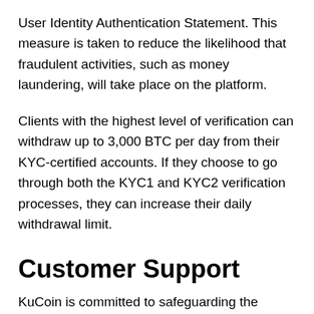User Identity Authentication Statement. This measure is taken to reduce the likelihood that fraudulent activities, such as money laundering, will take place on the platform.
Clients with the highest level of verification can withdraw up to 3,000 BTC per day from their KYC-certified accounts. If they choose to go through both the KYC1 and KYC2 verification processes, they can increase their daily withdrawal limit.
Customer Support
KuCoin is committed to safeguarding the privacy of its users and preventing infringement on their assets. As